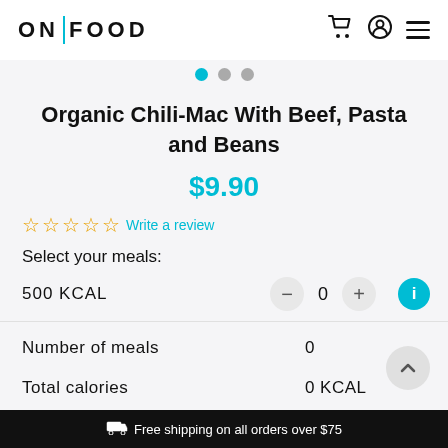ON | FOOD
Organic Chili-Mac With Beef, Pasta and Beans
$9.90
☆☆☆☆☆ Write a review
Select your meals:
500 KCAL  -  0  +
|  |  |
| --- | --- |
| Number of meals | 0 |
| Total calories | 0 KCAL |
Free shipping on all orders over $75